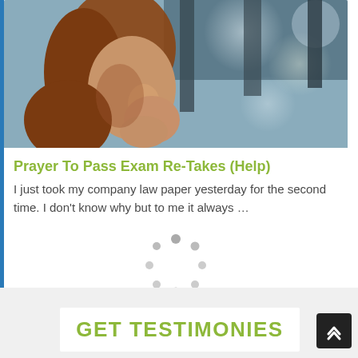[Figure (photo): A young woman with reddish-brown hair seen in profile, hands clasped near her face in a worried or praying posture, with a blurred bokeh background of light and dark tones]
Prayer To Pass Exam Re-Takes (Help)
I just took my company law paper yesterday for the second time. I don't know why but to me it always …
[Figure (other): Circular loading spinner indicator made of grey dots arranged in a circle]
GET TESTIMONIES